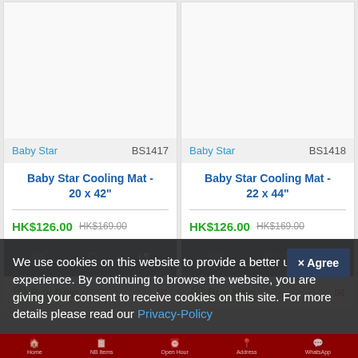[Figure (screenshot): Product card for Baby Star BS1417 - Baby Star Cooling Mat 20x42 inches, priced at HK$126.00 (original HK$169.00), with action icons and Buy Now button]
[Figure (screenshot): Product card for Baby Star BS1418 - Baby Star Cooling Mat 22x44 inches, priced at HK$126.00 (original HK$169.00), with action icons and Buy Now button]
We use cookies on this website to provide a better user experience. By continuing to browse the website, you are giving your consent to receive cookies on this site. For more details please read our Privacy-Policy
Home | NB Items | Open Hour | Address | WhatsApp